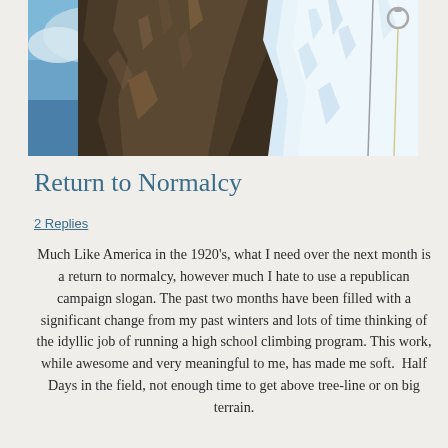[Figure (photo): Outdoor climbing photo showing a dark rocky cliff face on the left and a white frozen ice formation on the right, with a rope visible, against a blue sky background.]
Return to Normalcy
2 Replies
Much Like America in the 1920's, what I need over the next month is a return to normalcy, however much I hate to use a republican campaign slogan. The past two months have been filled with a significant change from my past winters and lots of time thinking of the idyllic job of running a high school climbing program. This work, while awesome and very meaningful to me, has made me soft.  Half Days in the field, not enough time to get above tree-line or on big terrain.